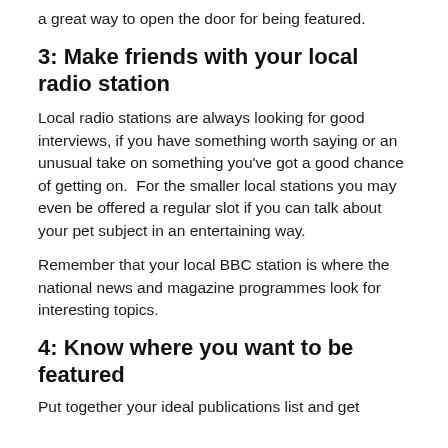a great way to open the door for being featured.
3: Make friends with your local radio station
Local radio stations are always looking for good interviews, if you have something worth saying or an unusual take on something you've got a good chance of getting on.  For the smaller local stations you may even be offered a regular slot if you can talk about your pet subject in an entertaining way.
Remember that your local BBC station is where the national news and magazine programmes look for interesting topics.
4: Know where you want to be featured
Put together your ideal publications list and get